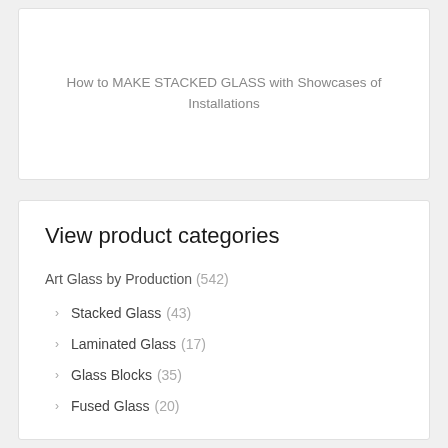How to MAKE STACKED GLASS with Showcases of Installations
View product categories
Art Glass by Production (542)
Stacked Glass (43)
Laminated Glass (17)
Glass Blocks (35)
Fused Glass (20)